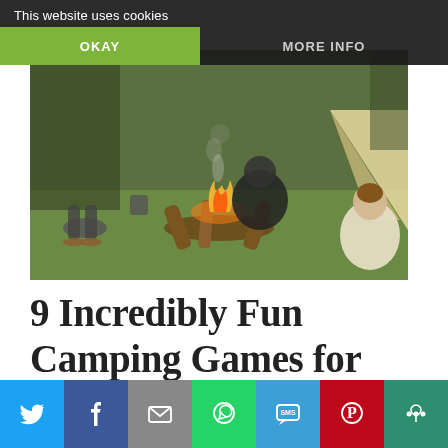This website uses cookies
OKAY
MORE INFO
[Figure (photo): Group of teens sitting around a campfire outdoors, with a tent in the background. Smoke rises from the fire. People are wearing casual clothes and sandals, crouching and sitting on logs.]
9 Incredibly Fun Camping Games for Teens
A crowd of it to t...
[Figure (other): Social sharing bar with icons for Twitter, Facebook, Email, WhatsApp, SMS, Pinterest, and More (share).]